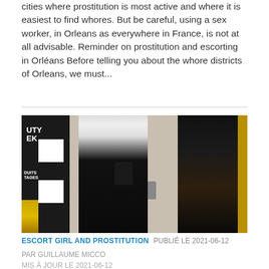cities where prostitution is most active and where it is easiest to find whores. But be careful, using a sex worker, in Orleans as everywhere in France, is not at all advisable. Reminder on prostitution and escorting in Orléans Before telling you about the whore districts of Orleans, we must...
[Figure (photo): Two women standing on a street at night in front of a dark store front with partial text 'DUTY' and 'EK' and 'DUITS TAGES' visible on the left. One woman wears dark jeans and a white top, the other wears a short skirt and black jacket.]
ESCORT GIRL AND PROSTITUTION  PUBLIÉ LE 2021-06-12
PAR GUILLAUME MICCO
MIS À JOUR LE 2021-06-12